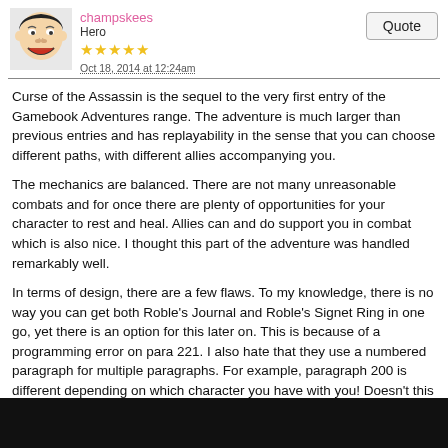champskees | Hero | Oct 18, 2014 at 12:24am | Quote
Curse of the Assassin is the sequel to the very first entry of the Gamebook Adventures range. The adventure is much larger than previous entries and has replayability in the sense that you can choose different paths, with different allies accompanying you.
The mechanics are balanced. There are not many unreasonable combats and for once there are plenty of opportunities for your character to rest and heal. Allies can and do support you in combat which is also nice. I thought this part of the adventure was handled remarkably well.
In terms of design, there are a few flaws. To my knowledge, there is no way you can get both Roble's Journal and Roble's Signet Ring in one go, yet there is an option for this later on. This is because of a programming error on para 221. I also hate that they use a numbered paragraph for multiple paragraphs. For example, paragraph 200 is different depending on which character you have with you! Doesn't this go against what a gamebook is? What is the point of having numbered paragraphs if the content changes with different playthroughs?
Gold is also flawed. Basically, you start off with more than you will need for the entire adventure, so there is no consequence for splurging.